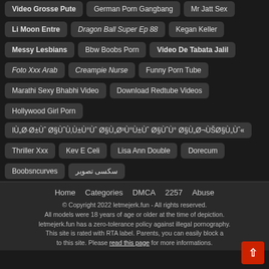Video Grosse Pute | German Porn Gangbang | Mr Jatt Sex
Li Moon Entre | Dragon Ball Super Ep 88 | Kegan Keller
Messy Lesbians | Bbw Boobs Porn | Video De Tabata Jalil
Foto Xxx Arab | Creampie Nurse | Funny Porn Tube
Marathi Sexy Bhabhi Video | Download Redtube Videos
Hollywood Girl Porn | اÙ†ÙˆÙŠÙˆÙ†Ù±Ù°Ùˆ
Thriller Xxx | Kev E Celi | Lisa Ann Double | Dorecum
Boobsncurves | سکسی تصویر
Home   Categories   DMCA   2257   Abuse
© Copyright 2022 letmejerk.fun - All rights reserved.
All models were 18 years of age or older at the time of depiction.
letmejerk.fun has a zero-tolerance policy against illegal pornography.
This site is rated with RTA label. Parents, you can easily block access to this site. Please read this page for more informations.